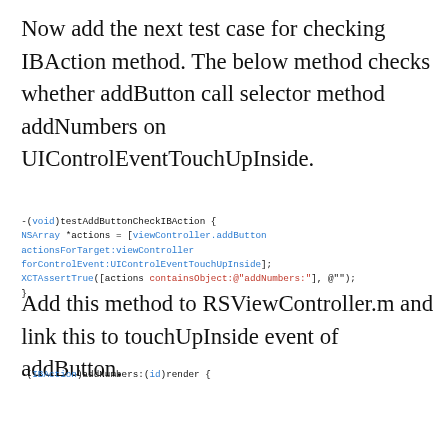Now add the next test case for checking IBAction method. The below method checks whether addButton call selector method addNumbers on UIControlEventTouchUpInside.
-(void)testAddButtonCheckIBAction {
NSArray *actions = [viewController.addButton actionsForTarget:viewController forControlEvent:UIControlEventTouchUpInside];
XCTAssertTrue([actions containsObject:@"addNumbers:"], @"");
}
Add this method to RSViewController.m and link this to touchUpInside event of addButton.
-(IBAction)addNumbers:(id)render {